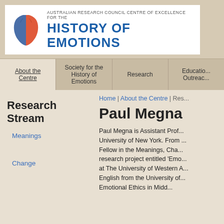[Figure (logo): Australian Research Council Centre of Excellence for the History of Emotions logo with two face profiles in red and blue]
About the Centre | Society for the History of Emotions | Research | Education Outreach
Research Stream
Meanings
Change
Home | About the Centre | Res...
Paul Megna
Paul Megna is Assistant Prof... University of New York. From ... Fellow in the Meanings, Cha... research project entitled 'Emo... at The University of Western A... English from the University of... Emotional Ethics in Midd...